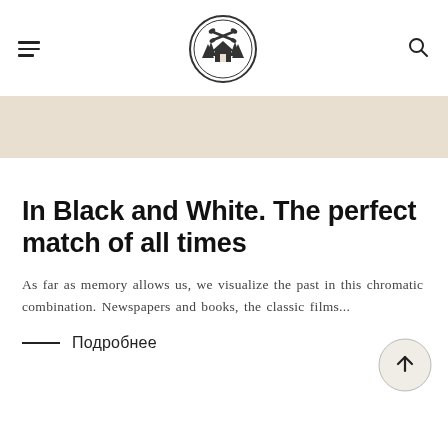[Figure (logo): Circular logo with a log cabin and crossed tools (axes or hammers), surrounded by pine trees, with decorative border]
In Black and White. The perfect match of all times
As far as memory allows us, we visualize the past in this chromatic combination. Newspapers and books, the classic films...
Подробнее